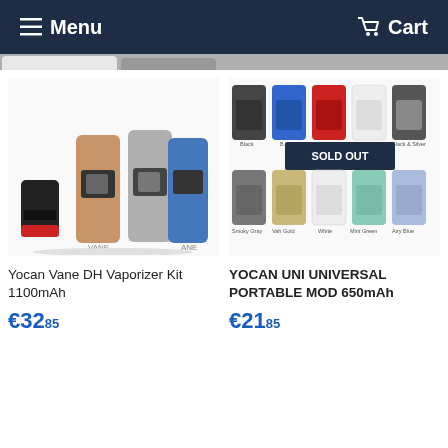Menu  Cart
[Figure (photo): Yocan Vane DH Vaporizer Kit in black/red, rose gold, silver, and blue colorways]
Yocan Vane DH Vaporizer Kit 1100mAh
€32.85
[Figure (photo): Yocan UNI Universal Portable Mod 650mAh in multiple colors: Black, Blue, Red, Black & Silver, Smoky Gray, Vail Gold, White, Mint Green, Airy Blue. Marked SOLD OUT.]
YOCAN UNI UNIVERSAL PORTABLE MOD 650mAh
€21.85